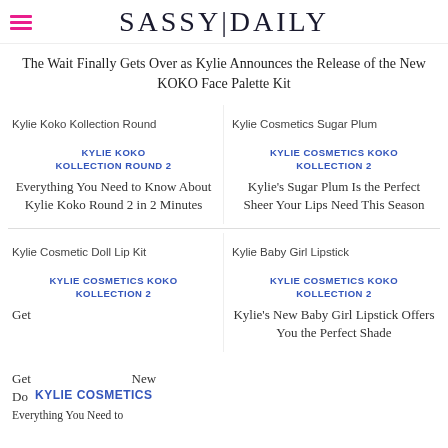SASSY|DAILY
The Wait Finally Gets Over as Kylie Announces the Release of the New KOKO Face Palette Kit
[Figure (photo): Thumbnail image placeholder for Kylie Koko Kollection Round 2]
KYLIE KOKO KOLLECTION ROUND 2
Everything You Need to Know About Kylie Koko Round 2 in 2 Minutes
[Figure (photo): Thumbnail image placeholder for Kylie Cosmetics Sugar Plum]
KYLIE COSMETICS KOKO KOLLECTION 2
Kylie's Sugar Plum Is the Perfect Sheer Your Lips Need This Season
[Figure (photo): Thumbnail image placeholder for Kylie Cosmetic Doll Lip Kit]
KYLIE COSMETICS KOKO KOLLECTION 2
Get Down with Kylie New Doll Lip Among the Koko Everything You Need to...
[Figure (photo): Thumbnail image placeholder for Kylie Baby Girl Lipstick]
KYLIE COSMETICS KOKO KOLLECTION 2
Kylie's New Baby Girl Lipstick Offers You the Perfect Shade
KYLIE COSMETICS